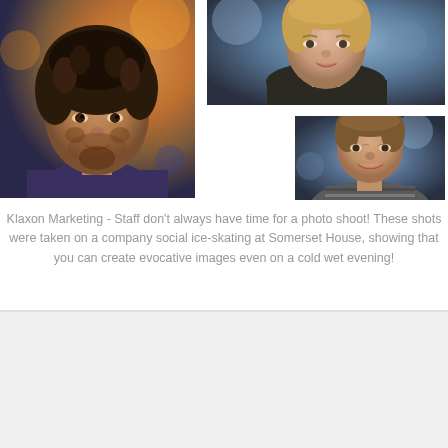[Figure (photo): Three portrait photos arranged in a grid: a young man with curly dark hair on the left, a blonde woman top right, and a man with short hair bottom right]
Klaxon Marketing - Staff don't always have time for a photo shoot! These shots were taken on a company social ice-skating at Somerset House, showing that you can create evocative images even on a cold wet evening!